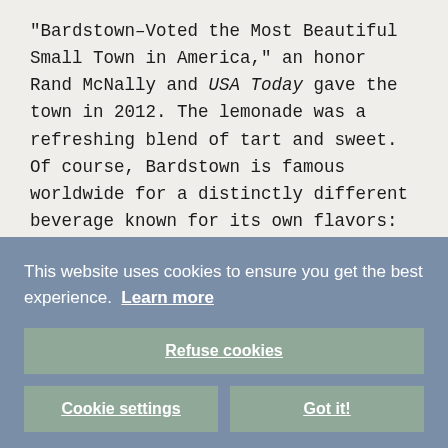“Bardstown–Voted the Most Beautiful Small Town in America,” an honor Rand McNally and USA Today gave the town in 2012. The lemonade was a refreshing blend of tart and sweet. Of course, Bardstown is famous worldwide for a distinctly different beverage known for its own flavors: Kentucky bourbon.
This website uses cookies to ensure you get the best experience. Learn more
Refuse cookies
Cookie settings
Got it!